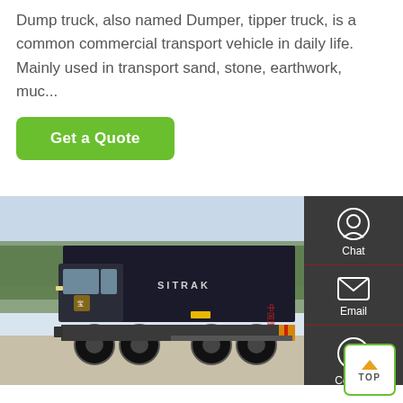Dump truck, also named Dumper, tipper truck, is a common commercial transport vehicle in daily life. Mainly used in transport sand, stone, earthwork, muc...
Get a Quote
[Figure (photo): Side view of a SITRAK dark blue/black dump truck parked in a yard, with trees in background.]
Chat
Email
Contact
TOP